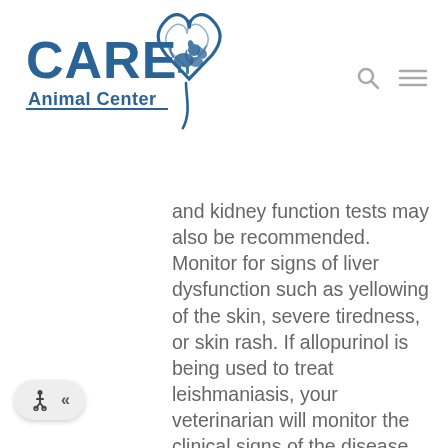[Figure (logo): CARE Animal Center logo with stylized heart containing a dog and cat silhouette, in blue tones]
and kidney function tests may also be recommended. Monitor for signs of liver dysfunction such as yellowing of the skin, severe tiredness, or skin rash. If allopurinol is being used to treat leishmaniasis, your veterinarian will monitor the clinical signs of the disease. Because bladder stones can develop with long-term use, dogs should also be monitored for urinary problems (e.g., straining to